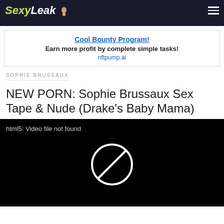SexyLeak
[Figure (infographic): Advertisement box: Cool Bounty Program! Earn more profit by complete simple tasks! nftpump.ai]
SOPHIE BRUSSAUX
NEW PORN: Sophie Brussaux Sex Tape & Nude (Drake's Baby Mama)
[Figure (screenshot): Black video player area showing 'html5: Video file not found' message and a white circle with slash (no-entry) icon in the center]